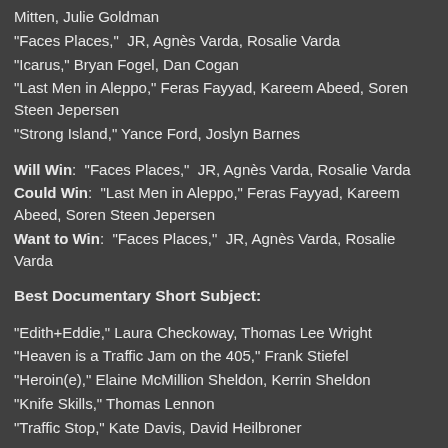Mitten, Julie Goldman
“Faces Places,”  JR, Agnès Varda, Rosalie Varda
“Icarus,” Bryan Fogel, Dan Cogan
“Last Men in Aleppo,” Feras Fayyad, Kareem Abeed, Soren Steen Jepersen
“Strong Island,” Yance Ford, Joslyn Barnes
Will Win:  “Faces Places,”  JR, Agnès Varda, Rosalie Varda
Could Win:  “Last Men in Aleppo,” Feras Fayyad, Kareem Abeed, Soren Steen Jepersen
Want to Win:  “Faces Places,”  JR, Agnès Varda, Rosalie Varda
Best Documentary Short Subject:
“Edith+Eddie,” Laura Checkoway, Thomas Lee Wright
“Heaven is a Traffic Jam on the 405,” Frank Stiefel
“Heroin(e),” Elaine McMillion Sheldon, Kerrin Sheldon
“Knife Skills,” Thomas Lennon
“Traffic Stop,” Kate Davis, David Heilbroner
Will Win:  “Edith+Eddie,” Laura Checkoway, Thomas Lee Wright
Could Win:  “Knife Skills,” Thomas Lennon